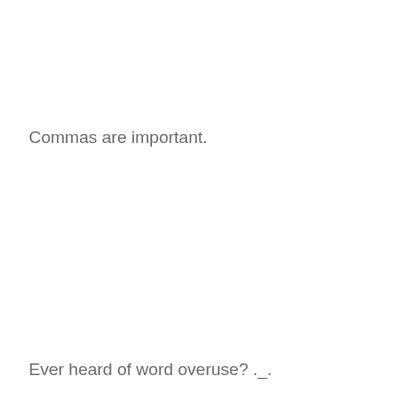Commas are important.
Ever heard of word overuse? ._.